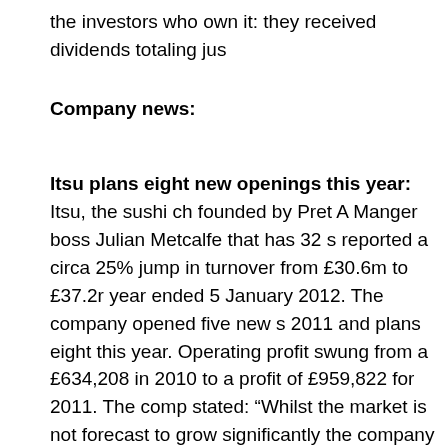the investors who own it: they received dividends totaling jus
Company news:
Itsu plans eight new openings this year: Itsu, the sushi ch founded by Pret A Manger boss Julian Metcalfe that has 32 s reported a circa 25% jump in turnover from £30.6m to £37.2r year ended 5 January 2012. The company opened five new s 2011 and plans eight this year. Operating profit swung from a £634,208 in 2010 to a profit of £959,822 for 2011. The comp stated: "Whilst the market is not forecast to grow significantly the company is well-placed to continue increasing its revenu virtue of its growing brand strength and consumer appetite fo healthy food." 2011 saw the company improve its hot food of sandwich/salad categories. "These improvements are creatin balanced menu," it said. Itsu has total bank loans of only £4. 99% owned by Metcalfe and fellow director Clive Schlee and